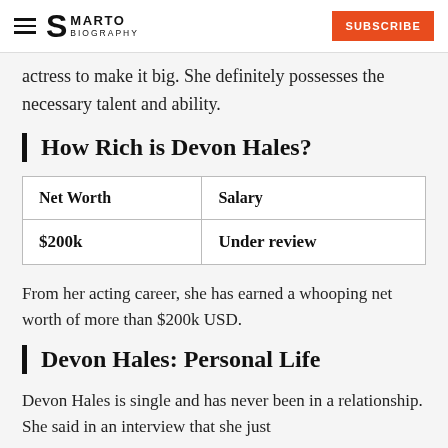SMARTO BIOGRAPHY | SUBSCRIBE
actress to make it big. She definitely possesses the necessary talent and ability.
How Rich is Devon Hales?
| Net Worth | Salary |
| --- | --- |
| $200k | Under review |
From her acting career, she has earned a whooping net worth of more than $200k USD.
Devon Hales: Personal Life
Devon Hales is single and has never been in a relationship. She said in an interview that she just